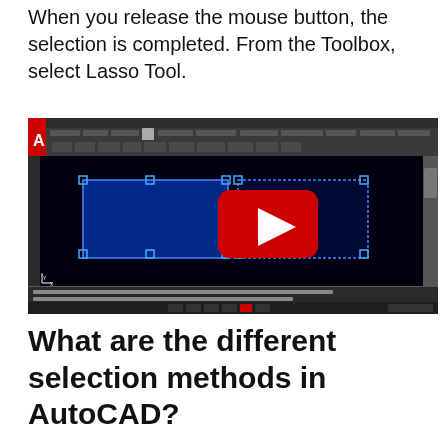When you release the mouse button, the selection is completed. From the Toolbox, select Lasso Tool.
[Figure (screenshot): Screenshot of AutoCAD software showing a drawing with two blue rectangles selected, with a YouTube play button overlay indicating an embedded video thumbnail. The AutoCAD ribbon toolbar is visible at the top and a command line at the bottom.]
What are the different selection methods in AutoCAD?